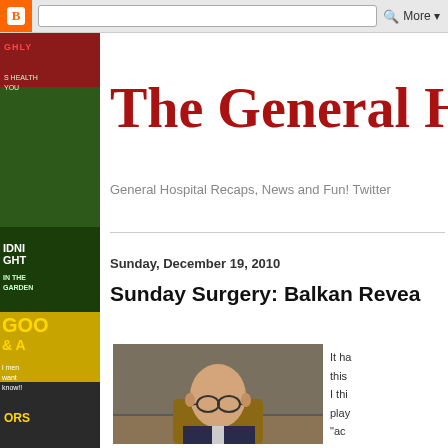Blogger navigation bar with search and More button
[Figure (screenshot): Left sidebar with magazine cover images showing partial text: MIDNIGHT, IN THE GARDEN, GOO, & AW, 1 men want know!!, ORS]
The General H
General Hospital Recaps, News and Fun! Twitter
Sunday, December 19, 2010
Sunday Surgery: Balkan Revea
[Figure (photo): Photo of a bald heavyset man wearing glasses and a dark suit, seated at what appears to be a desk or table]
It ha this I thi play "ac